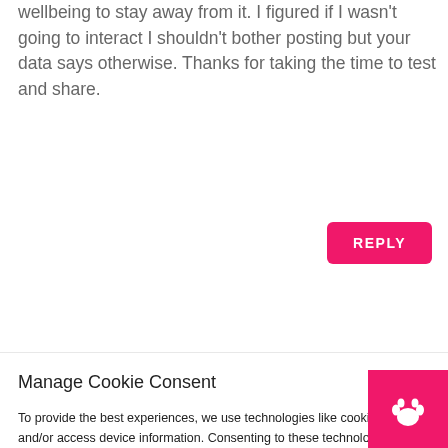wellbeing to stay away from it. I figured if I wasn't going to interact I shouldn't bother posting but your data says otherwise. Thanks for taking the time to test and share.
REPLY
Manage Cookie Consent
To provide the best experiences, we use technologies like cookies to store and/or access device information. Consenting to these technologies will allow us to process data such as browsing behavior or unique IDs on this site. Not consenting or withdrawing consent, may adversely af... certain features and functions.
Accept
Privacy Policy, Terms + Disclaimer